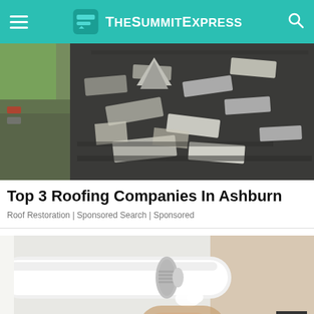TheSummitExpress
[Figure (photo): Damaged roof with broken and lifted shingles, aerial view showing severely deteriorated roof surface]
Top 3 Roofing Companies In Ashburn
Roof Restoration | Sponsored Search | Sponsored
[Figure (photo): Close-up of a hand squeezing a white tube with a small clear/metal cap, dispensing a white substance]